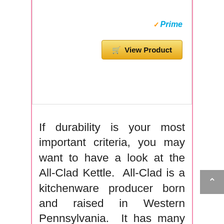[Figure (screenshot): Amazon product card partial view showing Prime badge and View Product button with golden background]
If durability is your most important criteria, you may want to have a look at the All-Clad Kettle. All-Clad is a kitchenware producer born and raised in Western Pennsylvania. It has many functional and elegant kettles, after carefully chosing we are going to show the best tea kettles for gas stoves produced